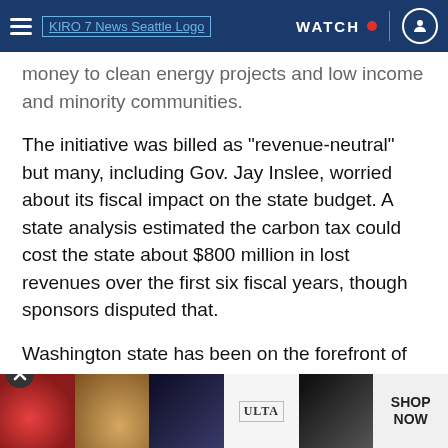KIRO 7 News Seattle — WATCH
money to clean energy projects and low income and minority communities.
The initiative was billed as "revenue-neutral" but many, including Gov. Jay Inslee, worried about its fiscal impact on the state budget. A state analysis estimated the carbon tax could cost the state about $800 million in lost revenues over the first six fiscal years, though sponsors disputed that.
Washington state has been on the forefront of climate policy as Inslee pushed measures to curb greenhouse gas emissions blamed for global warming. In September, the state passed regulations to lim[it large] carbo[n emitters]
[Figure (screenshot): ULTA Beauty advertisement banner with makeup imagery and SHOP NOW text]